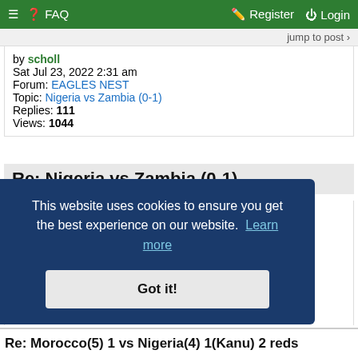≡ ? FAQ   Register Login
jump to post ›
by scholl
Sat Jul 23, 2022 2:31 am
Forum: EAGLES NEST
Topic: Nigeria vs Zambia (0-1)
Replies: 111
Views: 1044
Re: Nigeria vs Zambia (0-1)
:rotf: :rotf: Una dey waste emotions on country that treats people, who sacrifice a lot on their behalf, like poo poo. Unpaid bonus rows is, and has been a regular thing for decades. Somehow, many of you harbour hope or think certain actions under the same system will bring about a transformation. U...
This website uses cookies to ensure you get the best experience on our website.  Learn more

Got it!
Re: Morocco(5) 1 vs Nigeria(4) 1(Kanu) 2 reds